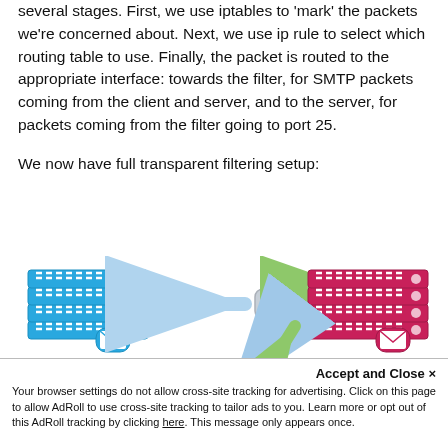several stages. First, we use iptables to 'mark' the packets we're concerned about. Next, we use ip rule to select which routing table to use. Finally, the packet is routed to the appropriate interface: towards the filter, for SMTP packets coming from the client and server, and to the server, for packets coming from the filter going to port 25.
We now have full transparent filtering setup:
[Figure (network-graph): Network diagram showing SMTP Client (blue server stack with envelope icon) connected via arrow to a Router (grey box), which connects via green arrow to SMTP Server (pink/magenta server stack with envelope icon). Blue dashed arrows go down from router and back up from below, suggesting traffic routing through filter.]
Accept and Close ×
Your browser settings do not allow cross-site tracking for advertising. Click on this page to allow AdRoll to use cross-site tracking to tailor ads to you. Learn more or opt out of this AdRoll tracking by clicking here. This message only appears once.